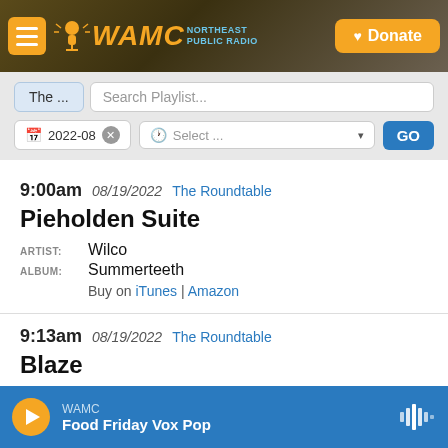WAMC Northeast Public Radio — Donate
The ... | Search Playlist... | 2022-08 | Select... | GO
9:00am 08/19/2022 The Roundtable
Pieholden Suite
ARTIST: Wilco
ALBUM: Summerteeth
Buy on iTunes | Amazon
9:13am 08/19/2022 The Roundtable
Blaze
ARTIST: Lettuce
ALBUM: Resonate
Buy on iTunes | Amazon
WAMC — Food Friday Vox Pop